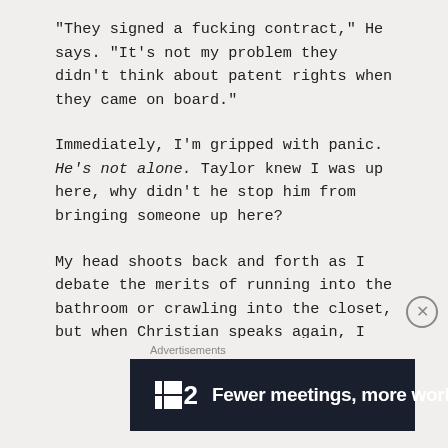“They signed a fucking contract,” He says. “It’s not my problem they didn’t think about patent rights when they came on board.”
Immediately, I’m gripped with panic. He’s not alone. Taylor knew I was up here, why didn’t he stop him from bringing someone up here?
My head shoots back and forth as I debate the merits of running into the bathroom or crawling into the closet, but when Christian speaks again, I realize he’s answering a question nobody asked. A quick, sly peek through the door reveals that he’s simply on the phone, pacing back and forth
Advertisements
[Figure (other): Advertisement banner for a tool called F2 with tagline 'Fewer meetings, more work.' Dark background with white text and icon.]